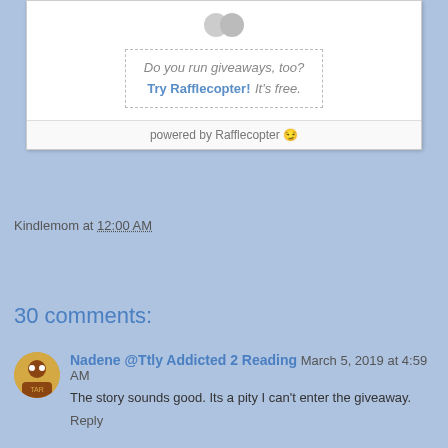[Figure (other): Rafflecopter giveaway widget showing dotted-border prompt: 'Do you run giveaways, too? Try Rafflecopter! It's free.' with 'powered by Rafflecopter' footer]
Kindlemom at 12:00 AM
Share
30 comments:
Nadene @Ttly Addicted 2 Reading  March 5, 2019 at 4:59 AM
The story sounds good. Its a pity I can't enter the giveaway.
Reply